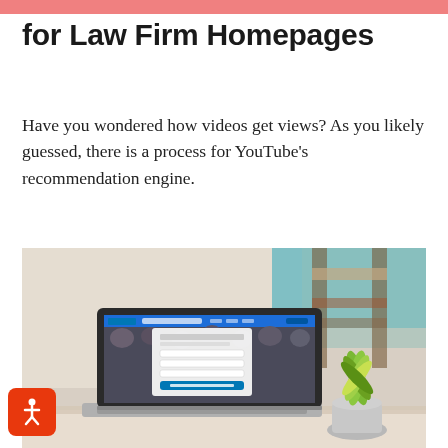for Law Firm Homepages
Have you wondered how videos get views? As you likely guessed, there is a process for YouTube's recommendation engine.
[Figure (photo): A laptop computer on a desk displaying what appears to be a LinkedIn or social platform page with multiple people visible. A small potted green plant sits to the right of the laptop. The background is blurred showing shelves and a light-colored wall.]